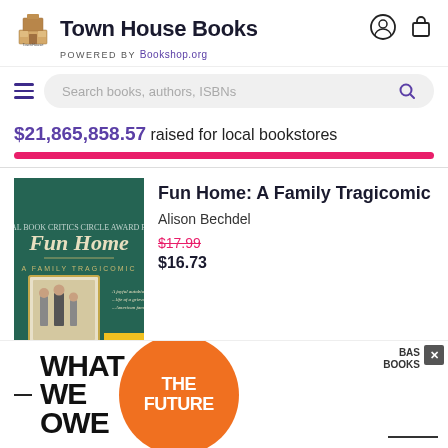Town House Books — POWERED BY Bookshop.org
$21,865,858.57 raised for local bookstores
[Figure (photo): Book cover of Fun Home: A Family Tragicomic by Alison Bechdel, green cover with illustrated family portrait]
Fun Home: A Family Tragicomic
Alison Bechdel
$17.99 $16.73
[Figure (advertisement): Ad banner for Basic Books title 'What We Owe The Future' with orange circle graphic]